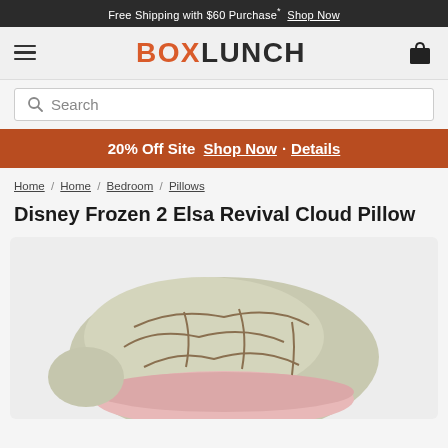Free Shipping with $60 Purchase* Shop Now
[Figure (logo): BoxLunch logo with hamburger menu and shopping bag icon]
Search
20% Off Site  Shop Now · Details
Home / Home / Bedroom / Pillows
Disney Frozen 2 Elsa Revival Cloud Pillow
[Figure (photo): Disney Frozen 2 Elsa Revival Cloud Pillow product image — a rounded pillow with light green/tan fabric top and pink bottom, with brown curved stitch lines across the surface.]